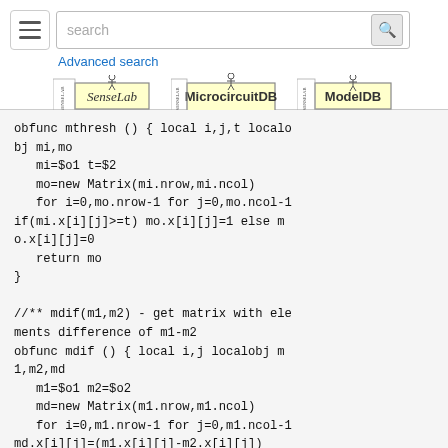[Figure (screenshot): Top navigation bar with hamburger menu, search box with search button, Advanced search link, and three database logos: SenseLab, MicrocircuitDB, ModelDB]
Advanced search
obfunc mthresh () { local i,j,t localobj mi,mo
    mi=$o1 t=$2
    mo=new Matrix(mi.nrow,mi.ncol)
    for i=0,mo.nrow-1 for j=0,mo.ncol-1 if(mi.x[i][j]>=t) mo.x[i][j]=1 else mo.x[i][j]=0
    return mo
}

//** mdif(m1,m2) - get matrix with elements difference of m1-m2
obfunc mdif () { local i,j localobj m1,m2,md
    m1=$o1 m2=$o2
    md=new Matrix(m1.nrow,m1.ncol)
    for i=0,m1.nrow-1 for j=0,m1.ncol-1 md.x[i][j]=(m1.x[i][j]-m2.x[i][j])
    return md
}